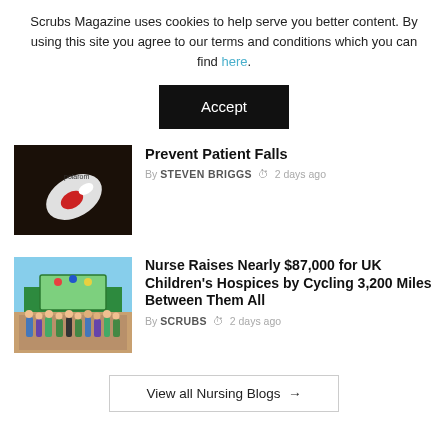Scrubs Magazine uses cookies to help serve you better content. By using this site you agree to our terms and conditions which you can find here.
Accept
Prevent Patient Falls
By STEVEN BRIGGS  2 days ago
Nurse Raises Nearly $87,000 for UK Children's Hospices by Cycling 3,200 Miles Between Them All
By SCRUBS  2 days ago
View all Nursing Blogs →